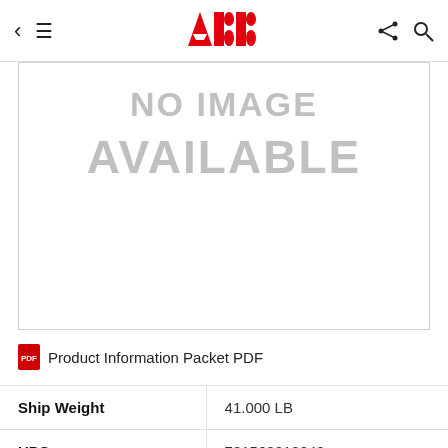ABB
[Figure (other): NO IMAGE AVAILABLE placeholder box with light gray text on white background with gray border]
Product Information Packet PDF
| Ship Weight | 41.000 LB |
| UPC | 781568810842 |